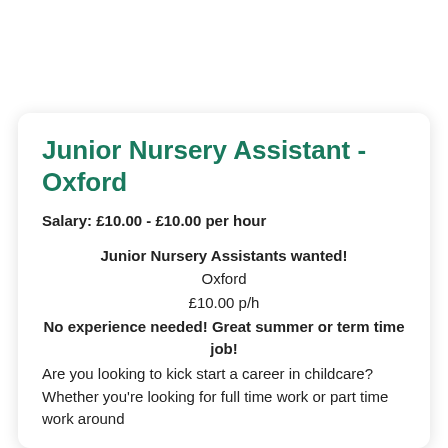Junior Nursery Assistant - Oxford
Salary: £10.00 - £10.00 per hour
Junior Nursery Assistants wanted!
Oxford
£10.00 p/h
No experience needed! Great summer or term time job!
Are you looking to kick start a career in childcare? Whether you're looking for full time work or part time work around your studies, we have a position available in our nursery and